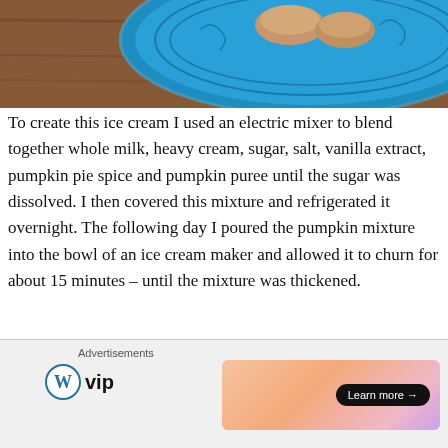[Figure (photo): Food photo showing a blue decorative plate with baked goods on a wooden surface, cropped at top]
To create this ice cream I used an electric mixer to blend together whole milk, heavy cream, sugar, salt, vanilla extract, pumpkin pie spice and pumpkin puree until the sugar was dissolved. I then covered this mixture and refrigerated it overnight. The following day I poured the pumpkin mixture into the bowl of an ice cream maker and allowed it to churn for about 15 minutes – until the mixture was thickened.
[Figure (photo): Bottom portion of a food photo, partially visible, showing a bowl or dish]
Advertisements
[Figure (logo): WordPress VIP logo — circle W icon followed by 'vip' text]
[Figure (infographic): Advertisement banner with gradient background and 'Learn more →' button]